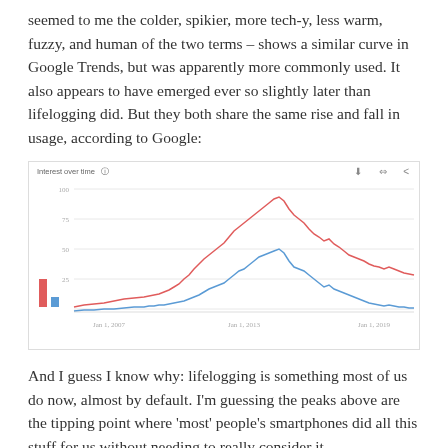seemed to me the colder, spikier, more tech-y, less warm, fuzzy, and human of the two terms – shows a similar curve in Google Trends, but was apparently more commonly used. It also appears to have emerged ever so slightly later than lifelogging did. But they both share the same rise and fall in usage, according to Google:
[Figure (continuous-plot): Google Trends screenshot showing two overlapping line charts – one red (higher, representing one term) and one blue (lower, representing the other term) – tracking interest over time from around 2007 to 2019. Both show a rise and fall pattern, peaking around 2013-2014. A small legend on the left shows a red bar and blue bar. X-axis labels include Jan 1, 2007, Jan 1, 2013(?), and Jan 1, 2019.]
And I guess I know why: lifelogging is something most of us do now, almost by default. I'm guessing the peaks above are the tipping point where 'most' people's smartphones did all this stuff for us without needing to really consider it.